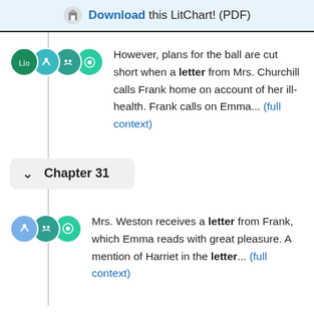Download this LitChart! (PDF)
However, plans for the ball are cut short when a letter from Mrs. Churchill calls Frank home on account of her ill-health. Frank calls on Emma... (full context)
Chapter 31
Mrs. Weston receives a letter from Frank, which Emma reads with great pleasure. A mention of Harriet in the letter... (full context)